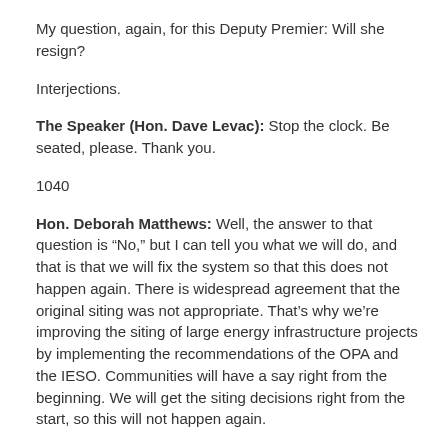My question, again, for this Deputy Premier: Will she resign?
Interjections.
The Speaker (Hon. Dave Levac): Stop the clock. Be seated, please. Thank you.
1040
Hon. Deborah Matthews: Well, the answer to that question is “No,” but I can tell you what we will do, and that is that we will fix the system so that this does not happen again. There is widespread agreement that the original siting was not appropriate. That’s why we’re improving the siting of large energy infrastructure projects by implementing the recommendations of the OPA and the IESO. Communities will have a say right from the beginning. We will get the siting decisions right from the start, so this will not happen again.